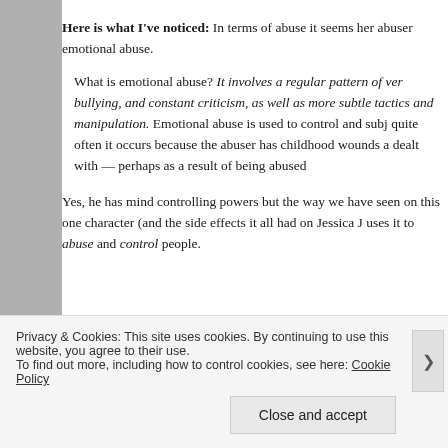Here is what I've noticed: In terms of abuse it seems her abuser emotional abuse.
What is emotional abuse? It involves a regular pattern of ver bullying, and constant criticism, as well as more subtle tactics and manipulation. Emotional abuse is used to control and subj quite often it occurs because the abuser has childhood wounds a dealt with — perhaps as a result of being abused
Yes, he has mind controlling powers but the way we have seen on this one character (and the side effects it all had on Jessica J uses it to abuse and control people.
Privacy & Cookies: This site uses cookies. By continuing to use this website, you agree to their use. To find out more, including how to control cookies, see here: Cookie Policy
Close and accept